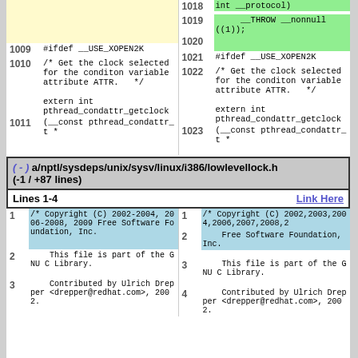Diff view of pthread header and lowlevellock.h showing lines 1009-1023 and lines 1-4 copyright sections
( - ) a/nptl/sysdeps/unix/sysv/linux/i386/lowlevellock.h (-1 / +87 lines)
Lines 1-4   Link Here
/* Copyright (C) 2002-2004, 2006-2008, 2009 Free Software Foundation, Inc.
/* Copyright (C) 2002,2003,2004,2006,2007,2008,2... Free Software Foundation, Inc.
This file is part of the GNU C Library.
Contributed by Ulrich Drepper <drepper@redhat.com>, 2002.